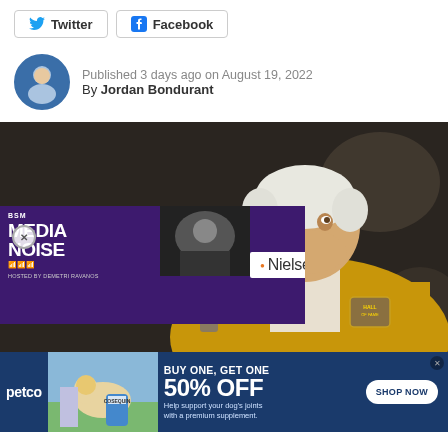[Figure (screenshot): Social media share buttons: Twitter and Facebook]
Published 3 days ago on August 19, 2022
By Jordan Bondurant
[Figure (photo): Elderly man in gold blazer laughing, appears to be John Madden at a Hall of Fame event. Overlay ad shows BSM Media Noise podcast and Nielsen logo. Close button visible.]
[Figure (infographic): Petco banner ad: BUY ONE, GET ONE 50% OFF. Help support your dog's joints with a premium supplement. SHOP NOW button. Shows petco logo and dog with owner photo.]